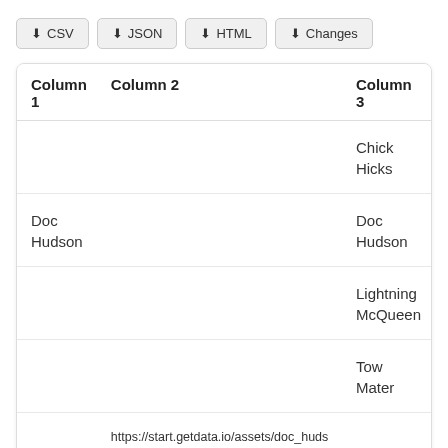[Figure (screenshot): Toolbar with four download buttons: CSV, JSON, HTML, Changes]
| Column 1 | Column 2 | Column 3 |
| --- | --- | --- |
|  |  | Chick Hicks |
| Doc Hudson |  | Doc Hudson |
|  |  | Lightning McQueen |
|  |  | Tow Mater |
|  | https://start.getdata.io/assets/doc_hudson.png |  |